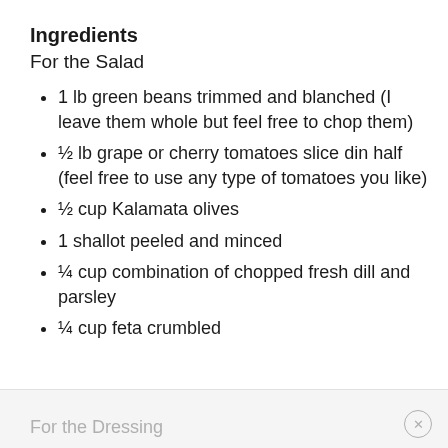Ingredients
For the Salad
1 lb green beans trimmed and blanched (I leave them whole but feel free to chop them)
½ lb grape or cherry tomatoes slice din half  (feel free to use any type of tomatoes you like)
½ cup Kalamata olives
1 shallot peeled and minced
¼ cup combination of chopped fresh dill and parsley
¼ cup feta crumbled
For the Dressing